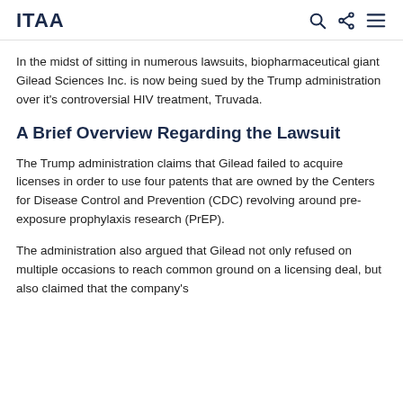ITAA
In the midst of sitting in numerous lawsuits, biopharmaceutical giant Gilead Sciences Inc. is now being sued by the Trump administration over it's controversial HIV treatment, Truvada.
A Brief Overview Regarding the Lawsuit
The Trump administration claims that Gilead failed to acquire licenses in order to use four patents that are owned by the Centers for Disease Control and Prevention (CDC) revolving around pre-exposure prophylaxis research (PrEP).
The administration also argued that Gilead not only refused on multiple occasions to reach common ground on a licensing deal, but also claimed that the company's